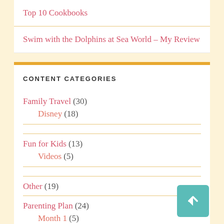Top 10 Cookbooks
Swim with the Dolphins at Sea World – My Review
CONTENT CATEGORIES
Family Travel (30)
Disney (18)
Fun for Kids (13)
Videos (5)
Other (19)
Parenting Plan (24)
Month 1 (5)